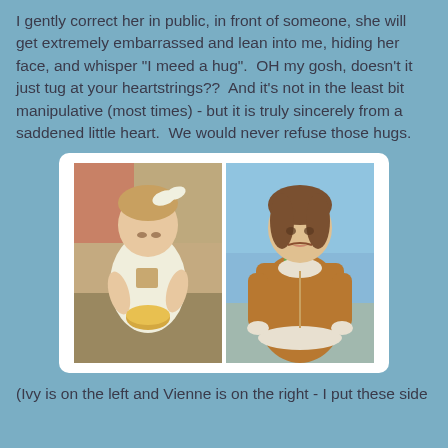I gently correct her in public, in front of someone, she will get extremely embarrassed and lean into me, hiding her face, and whisper "I meed a hug".  OH my gosh, doesn't it just tug at your heartstrings??  And it's not in the least bit manipulative (most times) - but it is truly sincerely from a saddened little heart.  We would never refuse those hugs.
[Figure (photo): Two side-by-side photos of toddler girls. Left photo: a girl named Ivy in a white sleeveless dress looking down at something she is holding, with a bow in her hair. Right photo: a girl named Vienne in a brown corduroy jacket with a green shirt, making a pouty face, outdoors.]
(Ivy is on the left and Vienne is on the right - I put these side